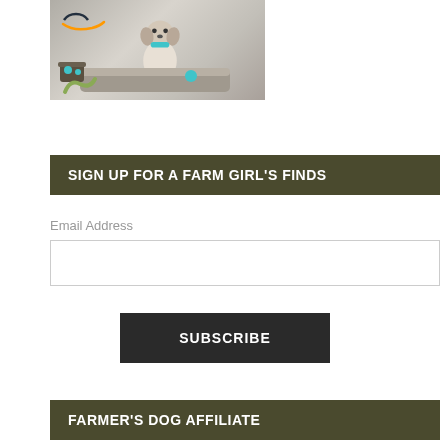[Figure (photo): Amazon-branded photo of a beagle dog sitting on a grey orthopedic dog bed, with a basket of toys, a teal ball, and rope toy nearby. Amazon smile logo visible in upper left.]
SIGN UP FOR A FARM GIRL'S FINDS
Email Address
SUBSCRIBE
FARMER'S DOG AFFILIATE